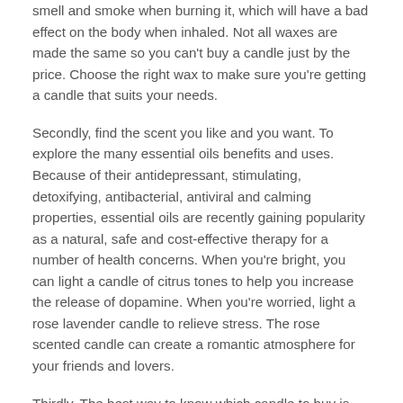smell and smoke when burning it, which will have a bad effect on the body when inhaled. Not all waxes are made the same so you can't buy a candle just by the price. Choose the right wax to make sure you're getting a candle that suits your needs.
Secondly, find the scent you like and you want. To explore the many essential oils benefits and uses. Because of their antidepressant, stimulating, detoxifying, antibacterial, antiviral and calming properties, essential oils are recently gaining popularity as a natural, safe and cost-effective therapy for a number of health concerns. When you're bright, you can light a candle of citrus tones to help you increase the release of dopamine. When you're worried, light a rose lavender candle to relieve stress. The rose scented candle can create a romantic atmosphere for your friends and lovers.
Thirdly, The best way to know which candle to buy is